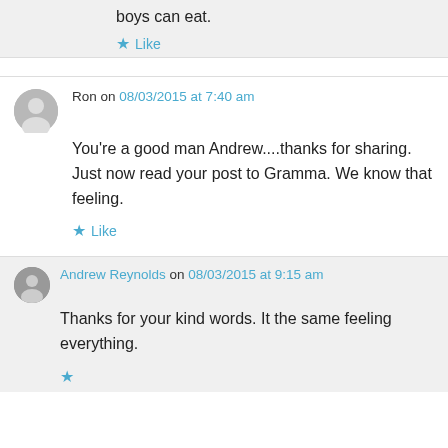boys can eat.
★ Like
Ron on 08/03/2015 at 7:40 am
You're a good man Andrew....thanks for sharing. Just now read your post to Gramma. We know that feeling.
★ Like
Andrew Reynolds on 08/03/2015 at 9:15 am
Thanks for your kind words. It the same feeling everything.
★ Like